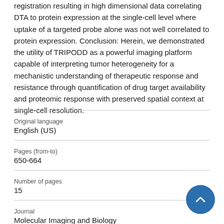registration resulting in high dimensional data correlating DTA to protein expression at the single-cell level where uptake of a targeted probe alone was not well correlated to protein expression. Conclusion: Herein, we demonstrated the utility of TRIPODD as a powerful imaging platform capable of interpreting tumor heterogeneity for a mechanistic understanding of therapeutic response and resistance through quantification of drug target availability and proteomic response with preserved spatial context at single-cell resolution.
| Original language | English (US) |
| Pages (from-to) | 650-664 |
| Number of pages | 15 |
| Journal | Molecular Imaging and Biology |